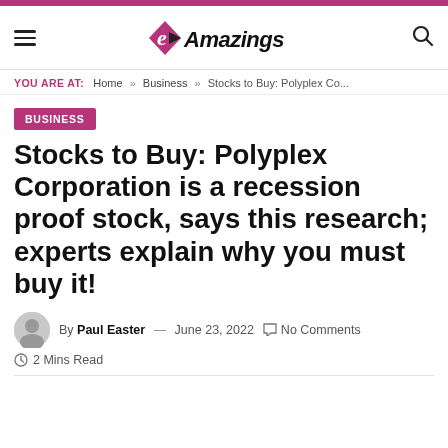eAmazings
YOU ARE AT: Home » Business » Stocks to Buy: Polyplex Co...
BUSINESS
Stocks to Buy: Polyplex Corporation is a recession proof stock, says this research; experts explain why you must buy it!
By Paul Easter — June 23, 2022  No Comments  2 Mins Read